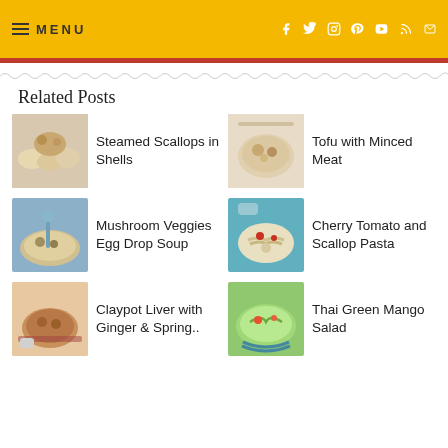MENU
Related Posts
Steamed Scallops in Shells
Tofu with Minced Meat
Mushroom Veggies Egg Drop Soup
Cherry Tomato and Scallop Pasta
Claypot Liver with Ginger & Spring..
Thai Green Mango Salad